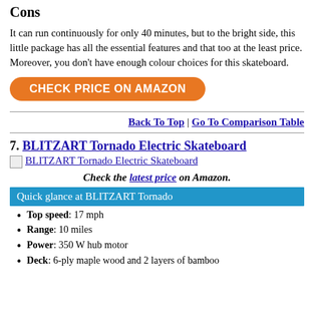Cons
It can run continuously for only 40 minutes, but to the bright side, this little package has all the essential features and that too at the least price. Moreover, you don’t have enough colour choices for this skateboard.
[Figure (other): Orange rounded button with text CHECK PRICE ON AMAZON in white bold letters]
Back To Top | Go To Comparison Table
7. BLITZART Tornado Electric Skateboard
[Figure (other): Image link placeholder for BLITZART Tornado Electric Skateboard]
Check the latest price on Amazon.
Quick glance at BLITZART Tornado
Top speed: 17 mph
Range: 10 miles
Power: 350 W hub motor
Deck: 6-ply maple wood and 2 layers of bamboo